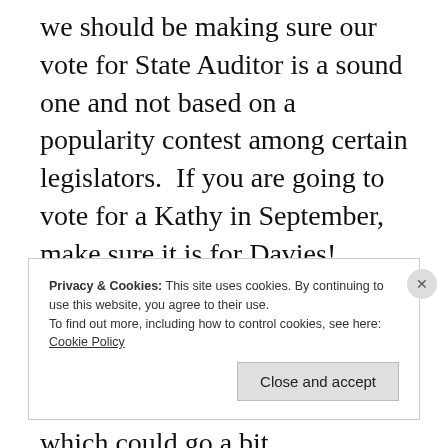we should be making sure our vote for State Auditor is a sound one and not based on a popularity contest among certain legislators.  If you are going to vote for a Kathy in September, make sure it is for Davies!

Things I like that are going on?  Senator Dave Sokola's bill for education funding transparency which could go a bit
Privacy & Cookies: This site uses cookies. By continuing to use this website, you agree to their use.
To find out more, including how to control cookies, see here: Cookie Policy